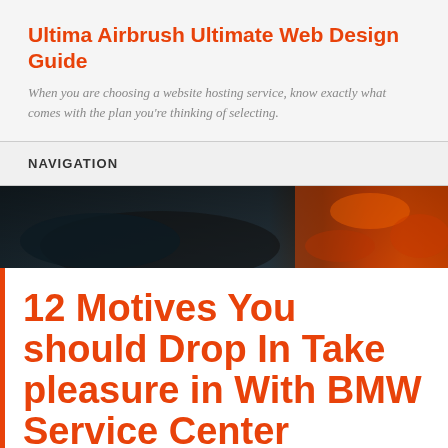Ultima Airbrush Ultimate Web Design Guide
When you are choosing a website hosting service, know exactly what comes with the plan you're thinking of selecting.
NAVIGATION
[Figure (photo): Dark automotive photo with orange/amber fire or metallic texture on the right side]
12 Motives You should Drop In Take pleasure in With BMW Service Center Roseville